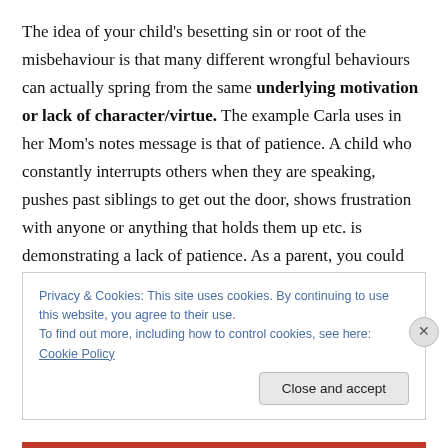The idea of your child's besetting sin or root of the misbehaviour is that many different wrongful behaviours can actually spring from the same underlying motivation or lack of character/virtue. The example Carla uses in her Mom's notes message is that of patience. A child who constantly interrupts others when they are speaking, pushes past siblings to get out the door, shows frustration with anyone or anything that holds them up etc. is demonstrating a lack of patience. As a parent, you could come up with a bunch of different consequences to suit every different occasion that you see it demonstrated, but
Privacy & Cookies: This site uses cookies. By continuing to use this website, you agree to their use.
To find out more, including how to control cookies, see here: Cookie Policy
Close and accept